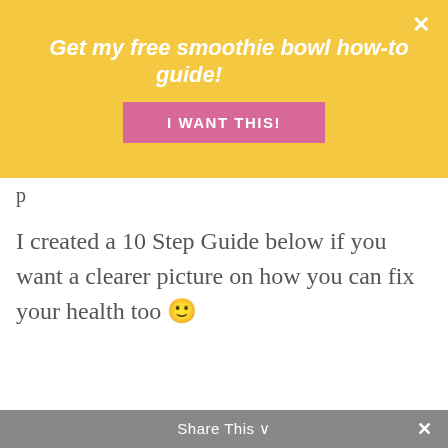Get my free smoothie bowl how-to guide!
I WANT THIS!
I created a 10 Step Guide below if you want a clearer picture on how you can fix your health too 🙂
10 STEPS TO GET YOUR HEALTH BACK
[Figure (photo): Partial view of a booklet/guide about '10 steps to get your health back']
Share This ∨ ✕